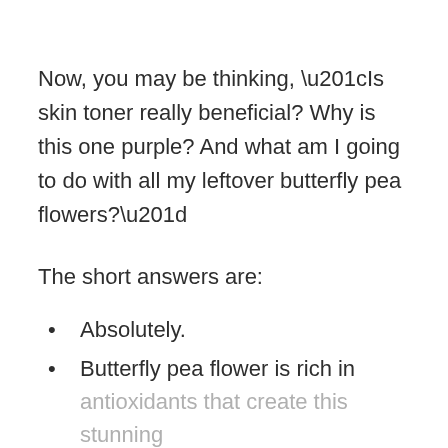Now, you may be thinking, “Is skin toner really beneficial? Why is this one purple? And what am I going to do with all my leftover butterfly pea flowers?”
The short answers are:
Absolutely.
Butterfly pea flower is rich in antioxidants that create this stunning